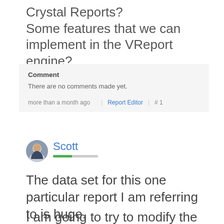Crystal Reports? Some features that we can implement in the VReport engine?
Comment
There are no comments made yet.
more than a month ago | Report Editor | # 1
Scott
The data set for this one particular report I am referring to is huge.
I am going to try to modify the query using